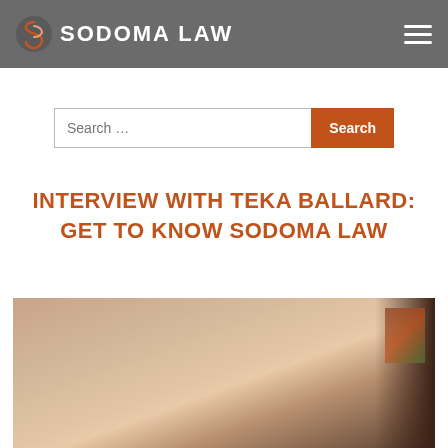SODOMA LAW
Search …
INTERVIEW WITH TEKA BALLARD: GET TO KNOW SODOMA LAW
[Figure (photo): Portrait photograph of a blonde woman (Teka Ballard) with a dark background and what appears to be a framed picture in the upper right corner.]